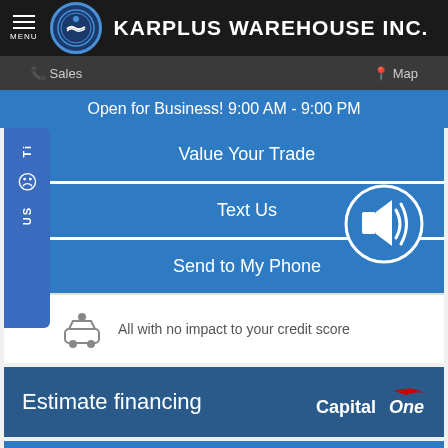KARPLUS WAREHOUSE INC.
Sales   Map
Open for Business! 9:00 AM - 9:00 PM
Value Your Trade
Text Us
Send to My Phone
All with no impact to your credit score
Estimate financing
Click to Call